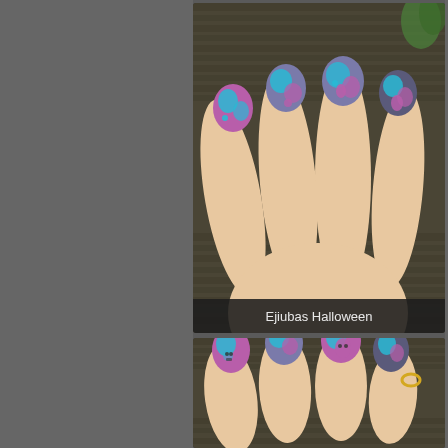[Figure (photo): Close-up photo of a hand with nail art featuring blue and pink Halloween-themed designs (spooky trees, ghosts, footprints) on a textured dark olive knit background. The nails are medium-length with rounded tips. White text overlay at bottom reads 'Ejiubas Halloween'.]
[Figure (photo): Second close-up photo of the same hand showing nail art with blue and pink Halloween designs including ghost and footprint motifs. The hand rests on the same dark knit fabric background. A gold ring is visible on one finger.]